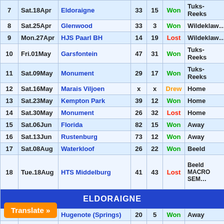| # | Date | Opponent | For | Ag | Result | Venue |
| --- | --- | --- | --- | --- | --- | --- |
| 7 | Sat.18Apr | Eldoraigne | 33 | 15 | Won | Tuks-Reeks |
| 8 | Sat.25Apr | Glenwood | 33 | 3 | Won | Wildeklaw… |
| 9 | Mon.27Apr | HJS Paarl BH | 14 | 19 | Lost | Wildeklaw… |
| 10 | Fri.01May | Garsfontein | 47 | 31 | Won | Tuks-Reeks |
| 11 | Sat.09May | Monument | 29 | 17 | Won | Tuks-Reeks |
| 12 | Sat.16May | Marais Viljoen | x | x | Drew | Home |
| 13 | Sat.23May | Kempton Park | 39 | 12 | Won | Home |
| 14 | Sat.30May | Monument | 26 | 32 | Lost | Home |
| 15 | Sat.06Jun | Florida | 82 | 15 | Won | Away |
| 16 | Sat.13Jun | Rustenburg | 73 | 12 | Won | Away |
| 17 | Sat.08Aug | Waterkloof | 26 | 22 | Won | Beeld |
| 18 | Tue.18Aug | HTS Middelburg | 41 | 43 | Lost | Beeld MACRO SEM… |
| ELDORAIGNE |  |  |  |  |  |  |
| 1 | Tue.03Mar | Hugenote (Springs) | 20 | 5 | Won | Away |
| 2 |  | Rustenburg | 24 | 19 | Won | Tuks-Reeks |
Translate »